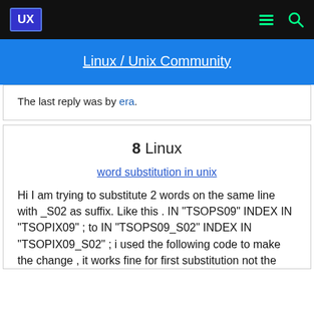UX | Linux / Unix Community
The last reply was by era.
8  Linux
word substitution in unix
Hi I am trying to substitute 2 words on the same line with _S02 as suffix. Like this . IN "TSOPS09" INDEX IN "TSOPIX09" ; to IN "TSOPS09_S02" INDEX IN "TSOPIX09_S02" ; i used the following code to make the change , it works fine for first substitution not the